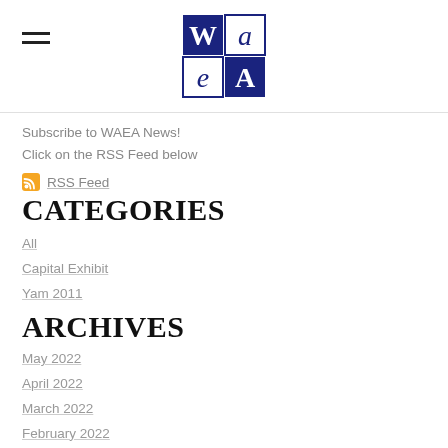WAEA logo and navigation
Subscribe to WAEA News!
Click on the RSS Feed below
RSS Feed
CATEGORIES
All
Capital Exhibit
Yam 2011
ARCHIVES
May 2022
April 2022
March 2022
February 2022
December 2021
November 2021